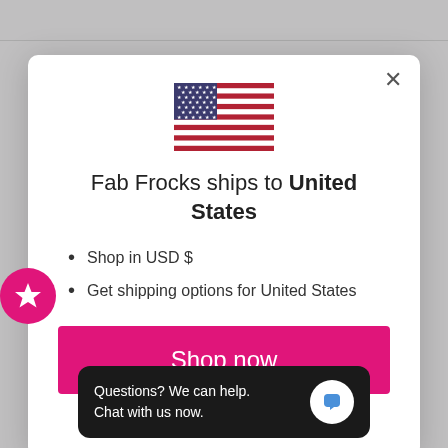[Figure (screenshot): E-commerce modal dialog showing US flag, shipping info for United States, with shop now button and change shipping country link. Pink star badge on left edge. Chat widget at bottom.]
Fab Frocks ships to United States
Shop in USD $
Get shipping options for United States
Shop now
Change shipping country
Questions? We can help.
Chat with us now.
Now £67.50